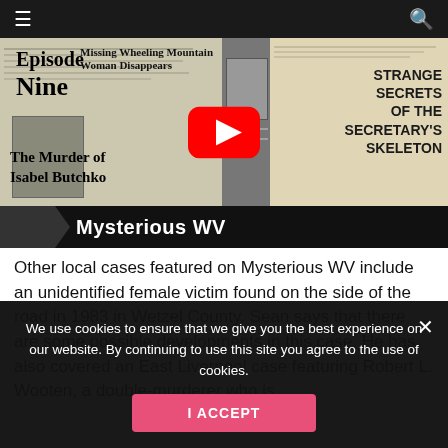≡  [navigation]  🔍
[Figure (screenshot): YouTube video thumbnail for Episode Nine: The Murder of Isabel Butchko, featuring newspaper clippings, a portrait photo, 'Strange Secrets of the Secretary's Skeleton' text, and 'Mysterious WV' banner with YouTube play button overlay.]
Other local cases featured on Mysterious WV include an unidentified female victim found on the side of the road in 1983 in Wetzel County. Sean says that there are some possible developments in this case. He has also covered an East Liverpool case featuring Robert L. Wooten, a double-murderer who is
We use cookies to ensure that we give you the best experience on our website. By continuing to use this site you agree to the use of cookies.
I ACCEPT